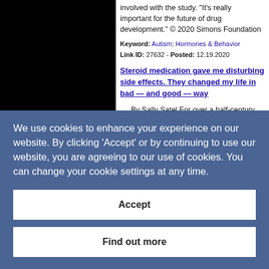[Figure (photo): Black rectangular image placeholder on the left side of the page]
involved with the study. "It's really important for the future of drug development." © 2020 Simons Foundation
Keyword: Autism; Hormones & Behavior
Link ID: 27632 - Posted: 12.19.2020
Steroid medication gave me disturbing side effects. They changed my life in bad — and good — way
By Sally Satel For over a half-century, steroid drugs have been a mainstay of medical care, widely used to treat inflammation...
We use cookies to enhance your experience on our website. By clicking 'Accept' or by continuing to use our website, you are agreeing to our use of cookies. You can change your cookie settings at any time.
Accept
Find out more